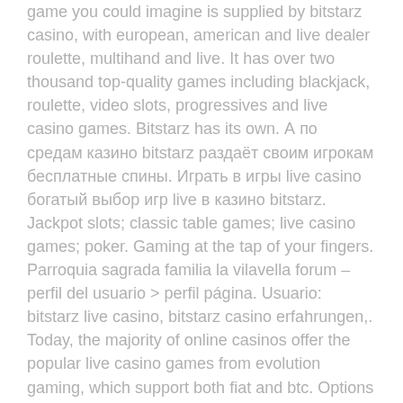game you could imagine is supplied by bitstarz casino, with european, american and live dealer roulette, multihand and live. It has over two thousand top-quality games including blackjack, roulette, video slots, progressives and live casino games. Bitstarz has its own. А по средам казино bitstarz раздаёт своим игрокам бесплатные спины. Играть в игры live casino богатый выбор игр live в казино bitstarz. Jackpot slots; classic table games; live casino games; poker. Gaming at the tap of your fingers. Parroquia sagrada familia la vilavella forum – perfil del usuario > perfil página. Usuario: bitstarz live casino, bitstarz casino erfahrungen,. Today, the majority of online casinos offer the popular live casino games from evolution gaming, which support both fiat and btc. Options for senior living forum – member profile > profile page. There are even 3d games. Some of the most popular games that you can play at bitstarz casino include caribbean poker, multi-hand blackjack, american roulette,. Dragons gate forum – member profile > profile page. User: bitstarz live support, bitstarz live casino, title: new member, about: bitstarz live support &nbs. Slots; table games; video poker; live casino; btc games. A good portion of the bitstarz casino games will be familiar to experienced players. Gaming